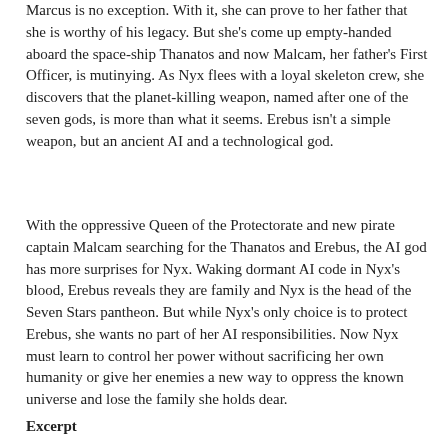Marcus is no exception. With it, she can prove to her father that she is worthy of his legacy. But she's come up empty-handed aboard the space-ship Thanatos and now Malcam, her father's First Officer, is mutinying. As Nyx flees with a loyal skeleton crew, she discovers that the planet-killing weapon, named after one of the seven gods, is more than what it seems. Erebus isn't a simple weapon, but an ancient AI and a technological god.
With the oppressive Queen of the Protectorate and new pirate captain Malcam searching for the Thanatos and Erebus, the AI god has more surprises for Nyx. Waking dormant AI code in Nyx's blood, Erebus reveals they are family and Nyx is the head of the Seven Stars pantheon. But while Nyx's only choice is to protect Erebus, she wants no part of her AI responsibilities. Now Nyx must learn to control her power without sacrificing her own humanity or give her enemies a new way to oppress the known universe and lose the family she holds dear.
Excerpt